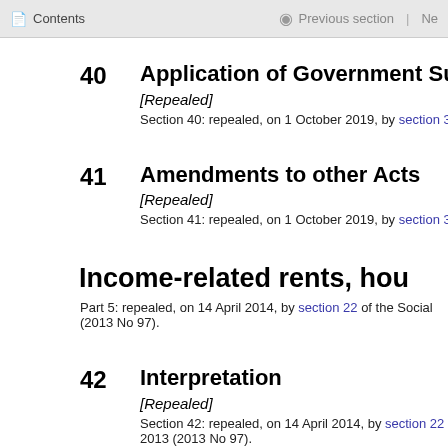Contents | Previous section | Ne
40 Application of Government Superannua
[Repealed]
Section 40: repealed, on 1 October 2019, by section 32 of the K
41 Amendments to other Acts
[Repealed]
Section 41: repealed, on 1 October 2019, by section 32 of the K
Income-related rents, hou
Part 5: repealed, on 14 April 2014, by section 22 of the Social (2013 No 97).
42 Interpretation
[Repealed]
Section 42: repealed, on 14 April 2014, by section 22 of the Se 2013 (2013 No 97).